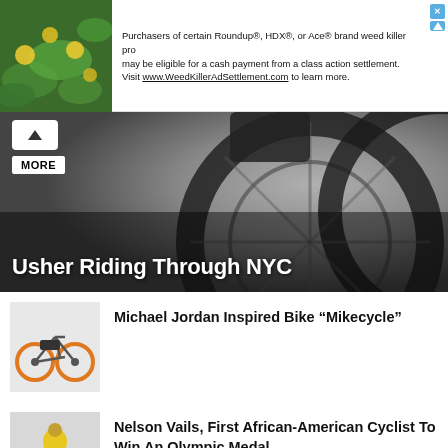[Figure (other): Advertisement banner - Roundup/HDX/Ace weed killer class action settlement]
Purchasers of certain Roundup®, HDX®, or Ace® brand weed killer products may be eligible for a cash payment from a class action settlement. Visit www.WeedKillerAdSettlement.com to learn more.
[Figure (photo): Hero image of bicycle wheels close-up in motion, black and white]
MORE
Usher Riding Through NYC
[Figure (photo): Thumbnail of Michael Jordan Mikecycle bike]
Michael Jordan Inspired Bike “Mikecycle”
[Figure (photo): Thumbnail of Nelson Vails cycling]
Nelson Vails, First African-American Cyclist To Win An Olympic Medal
[Figure (photo): Thumbnail of Major Motion Cycling group photo]
Major Motion Cycling (Los Angeles)